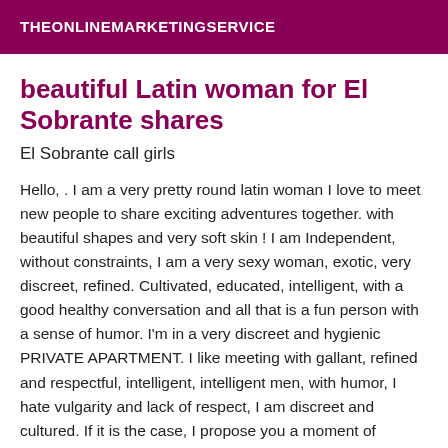THEONLINEMARKETINGSERVICE
beautiful Latin woman for El Sobrante shares
El Sobrante call girls
Hello, . I am a very pretty round latin woman I love to meet new people to share exciting adventures together. with beautiful shapes and very soft skin ! I am Independent, without constraints, I am a very sexy woman, exotic, very discreet, refined. Cultivated, educated, intelligent, with a good healthy conversation and all that is a fun person with a sense of humor. I'm in a very discreet and hygienic PRIVATE APARTMENT. I like meeting with gallant, refined and respectful, intelligent, intelligent men, with humor, I hate vulgarity and lack of respect, I am discreet and cultured. If it is the case, I propose you a moment of relaxation in an environment quiet and very discreet More information call me